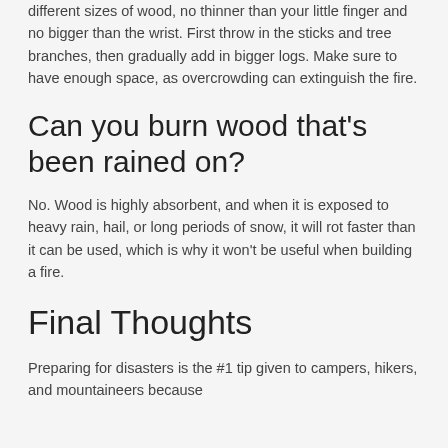different sizes of wood, no thinner than your little finger and no bigger than the wrist. First throw in the sticks and tree branches, then gradually add in bigger logs. Make sure to have enough space, as overcrowding can extinguish the fire.
Can you burn wood that's been rained on?
No. Wood is highly absorbent, and when it is exposed to heavy rain, hail, or long periods of snow, it will rot faster than it can be used, which is why it won't be useful when building a fire.
Final Thoughts
Preparing for disasters is the #1 tip given to campers, hikers, and mountaineers because